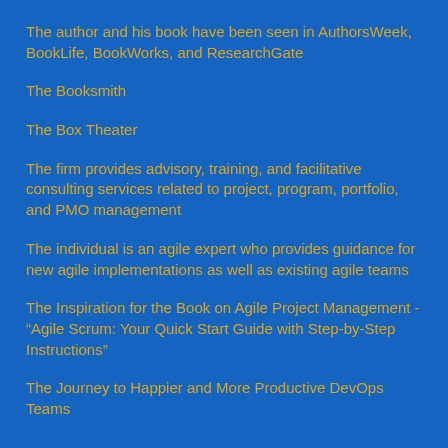The author and his book have been seen in AuthorsWeek, BookLife, BookWorks, and ResearchGate
The Booksmith
The Box Theater
The firm provides advisory, training, and facilitative consulting services related to project, program, portfolio, and PMO management
The individual is an agile expert who provides guidance for new agile implementations as well as existing agile teams
The Inspiration for the Book on Agile Project Management - "Agile Scrum: Your Quick Start Guide with Step-by-Step Instructions"
The Journey to Happier and More Productive DevOps Teams